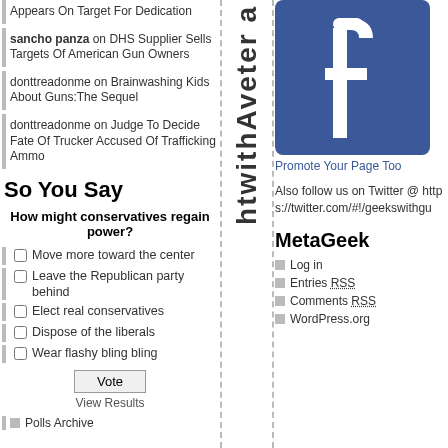Appears On Target For Dedication
sancho panza on DHS Supplier Sells Targets Of American Gun Owners
donttreadonme on Brainwashing Kids About Guns:The Sequel
donttreadonme on Judge To Decide Fate Of Trucker Accused Of Trafficking Ammo
So You Say
How might conservatives regain power?
Move more toward the center
Leave the Republican party behind
Elect real conservatives
Dispose of the liberals
Wear flashy bling bling
Vote
View Results
Polls Archive
[Figure (logo): Facebook logo - blue square with white f]
Promote Your Page Too
Also follow us on Twitter @ https://twitter.com/#!/geekswithgu
MetaGeek
Log in
Entries RSS
Comments RSS
WordPress.org